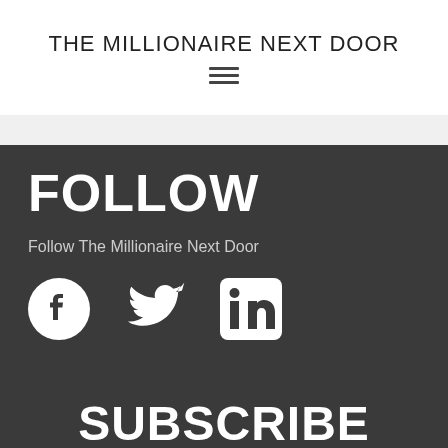THE MILLIONAIRE NEXT DOOR
[Figure (other): Hamburger menu icon (three horizontal lines)]
FOLLOW
Follow The Millionaire Next Door
[Figure (other): Social media icons: Facebook, Twitter, LinkedIn]
SUBSCRIBE